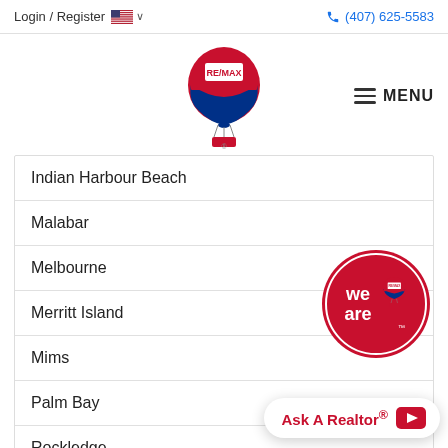Login / Register  🇺🇸 ∨   (407) 625-5583
[Figure (logo): RE/MAX hot air balloon logo in red, white and blue]
MENU
Indian Harbour Beach
Malabar
Melbourne
Merritt Island
Mims
Palm Bay
Rockledge
[Figure (logo): We Are RE/MAX circular red badge with RE/MAX balloon logo]
Ask A Realtor®